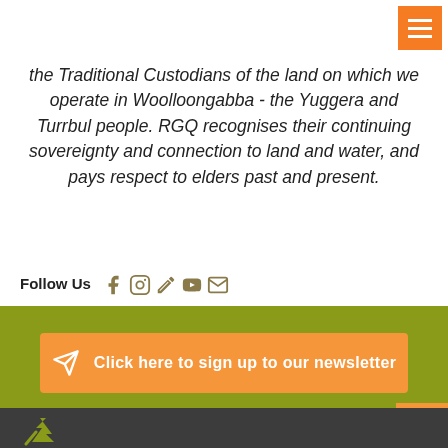the Traditional Custodians of the land on which we operate in Woolloongabba - the Yuggera and Turrbul people. RGQ recognises their continuing sovereignty and connection to land and water, and pays respect to elders past and present.
Follow Us
[Figure (infographic): Click here to sign up to our newsletter button with send icon]
[Figure (logo): RGQ logo in dark footer]